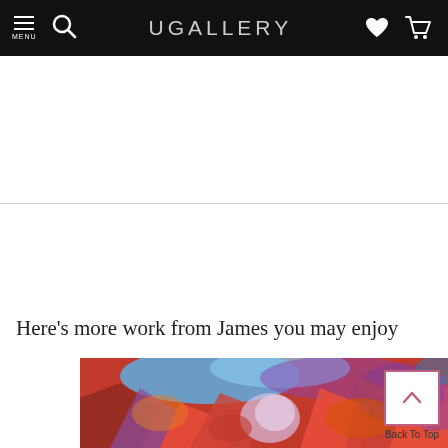UGALLERY
Here's more work from James you may enjoy
[Figure (photo): Colorful abstract expressionist painting with vivid red, orange, blue and purple brushstrokes suggesting a landscape]
Back To Top